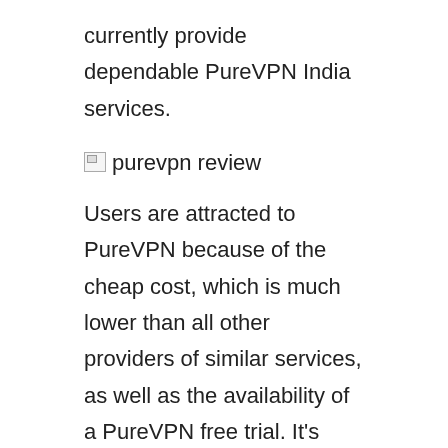currently provide dependable PureVPN India services.
[Figure (other): Broken image placeholder labeled 'purevpn review']
Users are attracted to PureVPN because of the cheap cost, which is much lower than all other providers of similar services, as well as the availability of a PureVPN free trial. It's simple and straightforward to use, and it's compatible with all devices. One of the most intriguing features of PureVPN is that it supports 100% torrenting. I'm not explaining its features; rather, I'm giving you a clear picture of what I observed throughout my Pure VPN review. I can't deny that it has certain